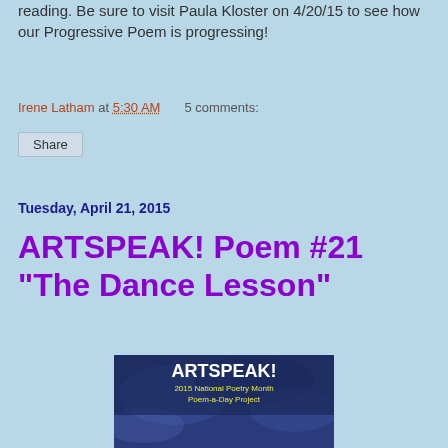reading. Be sure to visit Paula Kloster on 4/20/15 to see how our Progressive Poem is progressing!
Irene Latham at 5:30 AM    5 comments:
Share
Tuesday, April 21, 2015
ARTSPEAK! Poem #21 "The Dance Lesson"
[Figure (illustration): ARTSPEAK! 2015 National Poetry Month Poem-a-Day Project book cover showing a still life painting with fruits and bottles on a dark blue background, with text 'www.irenelatham.com' at bottom]